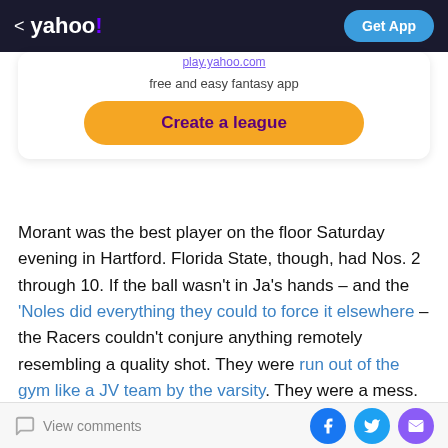< yahoo! | Get App
[Figure (screenshot): Yahoo fantasy app promotional card with 'free and easy fantasy app' text and a gold 'Create a league' button]
Morant was the best player on the floor Saturday evening in Hartford. Florida State, though, had Nos. 2 through 10. If the ball wasn't in Ja's hands – and the 'Noles did everything they could to force it elsewhere – the Racers couldn't conjure anything remotely resembling a quality shot. They were run out of the gym like a JV team by the varsity. They were a mess.
View comments